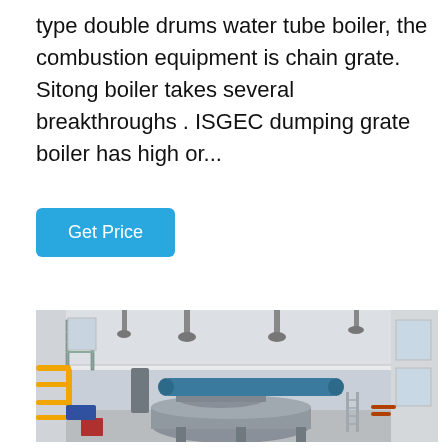type double drums water tube boiler, the combustion equipment is chain grate. Sitong boiler takes several breakthroughs . ISGEC dumping grate boiler has high or...
Get Price
[Figure (photo): Industrial boiler installation inside a large factory building. A large grey double-drum water tube boiler unit is mounted on a steel frame. Yellow gas pipes run along the left wall. The building has white walls, a high white ceiling with hanging fixtures, and large windows on the right side.]